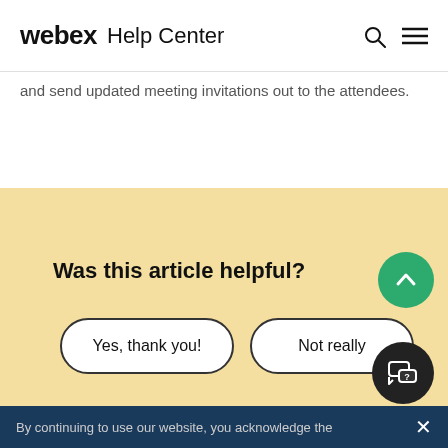webex Help Center
and send updated meeting invitations out to the attendees.
Was this article helpful?
Yes, thank you!
Not really
By continuing to use our website, you acknowledge the